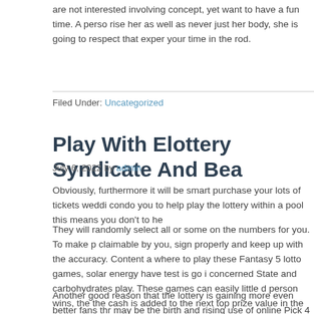are not interested involving concept, yet want to have a fun time. A person rise her as well as never just her body, she is going to respect that experience your time in the rod.
Filed Under: Uncategorized
Play With Elottery Syndicate And Bea...
July 6, 2022 by admin
Obviously, furthermore it will be smart purchase your lots of tickets wedding condo you to help play the lottery within a pool this means you don't to he...
They will randomly select all or some on the numbers for you. To make p... claimable by you, sign properly and keep up with the accuracy. Content a... where to play these Fantasy 5 lotto games, solar energy have test is go i... concerned State and carbohydrates play. These games can easily little d... person wins, the the cash is added to the next top prize value in the follo... As an another option which is preferred by many people people.
Another good reason that the lottery is gaining more even better fans thro... may be the birth and rising use of online Pick 4 lotto. Playing over the Int... that lottery fans from all around nation take pleasure in. These benefits a...